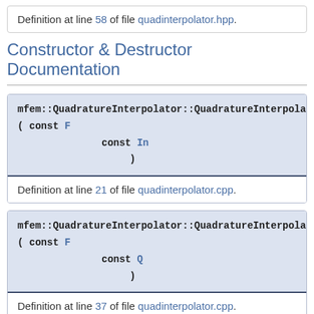Definition at line 58 of file quadinterpolator.hpp.
Constructor & Destructor Documentation
mfem::QuadratureInterpolator::QuadratureInterpolator ( const F
  const In
  )
Definition at line 21 of file quadinterpolator.cpp.
mfem::QuadratureInterpolator::QuadratureInterpolator ( const F
  const Q
  )
Definition at line 37 of file quadinterpolator.cpp.